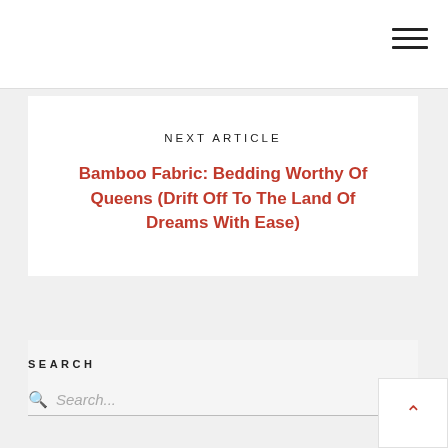NEXT ARTICLE
Bamboo Fabric: Bedding Worthy Of Queens (Drift Off To The Land Of Dreams With Ease)
SEARCH
Search...